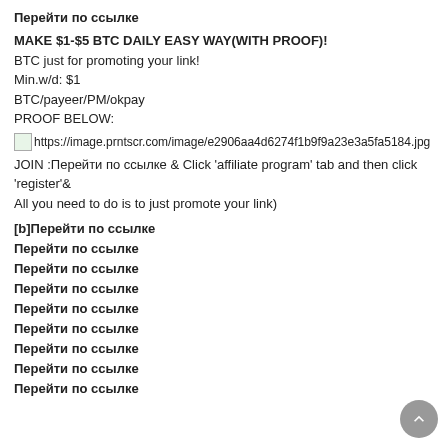Перейти по ссылке
MAKE $1-$5 BTC DAILY EASY WAY(WITH PROOF)!
BTC just for promoting your link!
Min.w/d: $1
BTC/payeer/PM/okpay
PROOF BELOW:
[Figure (other): Image placeholder with URL: https://image.prntscr.com/image/e2906aa4d6274f1b9f9a23e3a5fa5184.jpg]
JOIN :Перейти по ссылке & Click 'affiliate program' tab and then click 'register'& All you need to do is to just promote your link)
[b]Перейти по ссылке
Перейти по ссылке
Перейти по ссылке
Перейти по ссылке
Перейти по ссылке
Перейти по ссылке
Перейти по ссылке
Перейти по ссылке
Перейти по ссылке